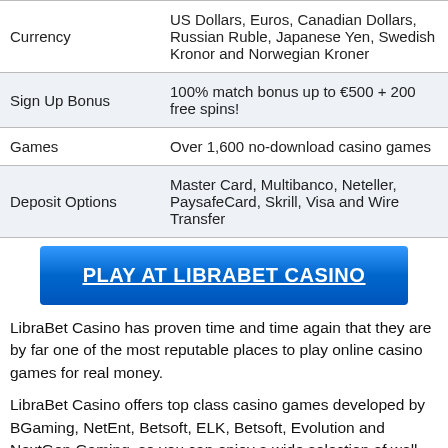|  |  |
| --- | --- |
| Currency | US Dollars, Euros, Canadian Dollars, Russian Ruble, Japanese Yen, Swedish Kronor and Norwegian Kroner |
| Sign Up Bonus | 100% match bonus up to €500 + 200 free spins! |
| Games | Over 1,600 no-download casino games |
| Deposit Options | Master Card, Multibanco, Neteller, PaysafeCard, Skrill, Visa and Wire Transfer |
PLAY AT LIBRABET CASINO
LibraBet Casino has proven time and time again that they are by far one of the most reputable places to play online casino games for real money.
LibraBet Casino offers top class casino games developed by BGaming, NetEnt, Betsoft, ELK, Betsoft, Evolution and NextGen Gaming, so you can enjoy a wide selection of well-known, highest quality games while living your adventure. The graphics of the games is just excellent, the sound effects are life-like and the animations are thrilling.